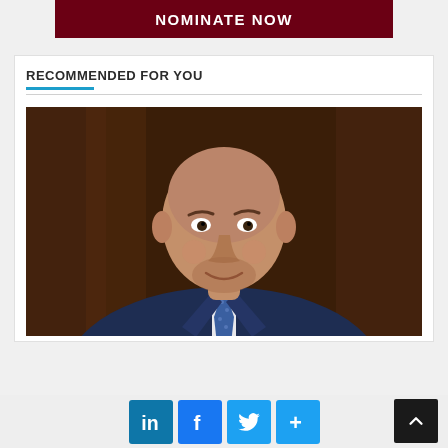[Figure (other): Red banner with white bold text reading NOMINATE NOW]
RECOMMENDED FOR YOU
[Figure (photo): Professional headshot of a middle-aged man in a navy blue suit with a blue patterned tie, bald/close-cropped hair, slight smile, against a dark brown wood-paneled background]
[Figure (other): Social sharing bar with LinkedIn, Facebook, Twitter, and More (+) buttons, plus a dark scroll-to-top arrow button]